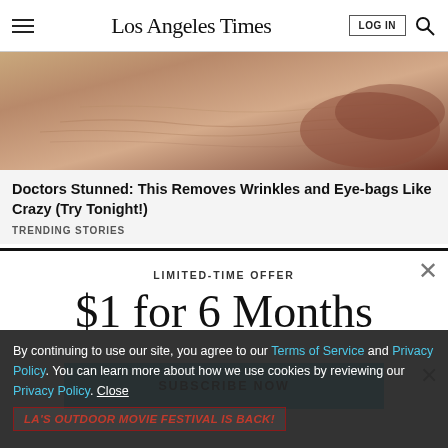Los Angeles Times | LOG IN | [search icon]
[Figure (photo): Close-up of aged facial skin showing wrinkles near lips and eyes]
Doctors Stunned: This Removes Wrinkles and Eye-bags Like Crazy (Try Tonight!)
TRENDING STORIES
LIMITED-TIME OFFER
$1 for 6 Months
SUBSCRIBE NOW
By continuing to use our site, you agree to our Terms of Service and Privacy Policy. You can learn more about how we use cookies by reviewing our Privacy Policy. Close
LA'S OUTDOOR MOVIE FESTIVAL IS BACK!